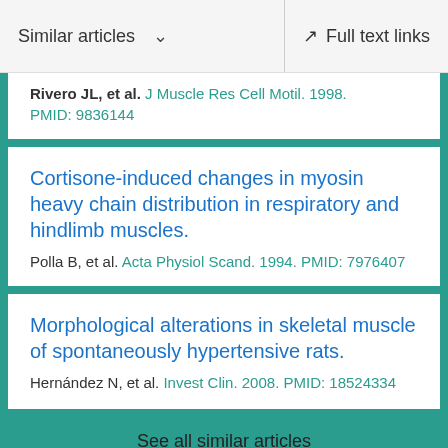Similar articles   Full text links
Rivero JL, et al. J Muscle Res Cell Motil. 1998.
PMID: 9836144
Cortisone-induced changes in myosin heavy chain distribution in respiratory and hindlimb muscles.
Polla B, et al. Acta Physiol Scand. 1994. PMID: 7976407
Morphological alterations in skeletal muscle of spontaneously hypertensive rats.
Hernández N, et al. Invest Clin. 2008. PMID: 18524334
See all similar articles